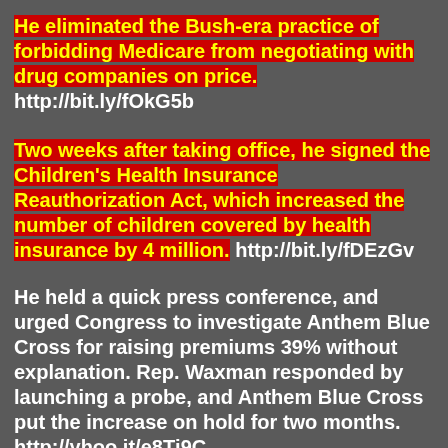He eliminated the Bush-era practice of forbidding Medicare from negotiating with drug companies on price. http://bit.ly/fOkG5b
Two weeks after taking office, he signed the Children's Health Insurance Reauthorization Act, which increased the number of children covered by health insurance by 4 million. http://bit.ly/fDEzGv
He held a quick press conference, and urged Congress to investigate Anthem Blue Cross for raising premiums 39% without explanation. Rep. Waxman responded by launching a probe, and Anthem Blue Cross put the increase on hold for two months. http://yhoo.it/e8Tj9C